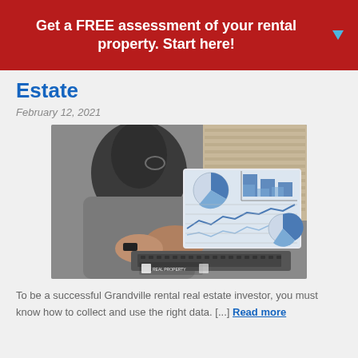Get a FREE assessment of your rental property. Start here!
Estate
February 12, 2021
[Figure (photo): Person sitting at a desk typing on a laptop. The laptop screen shows financial charts including pie charts, bar charts, and a line graph. A real estate company logo is visible in the lower left of the image.]
To be a successful Grandville rental real estate investor, you must know how to collect and use the right data. [...] Read more